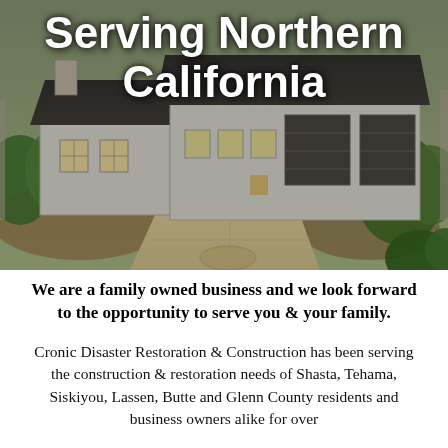[Figure (photo): Aerial view of a house under construction with gray exterior wrap, dark roof shingles, and concrete driveway. Green trees visible in background and foreground right.]
Serving Northern California
We are a family owned business and we look forward to the opportunity to serve you & your family.
Cronic Disaster Restoration & Construction has been serving the construction & restoration needs of Shasta, Tehama, Siskiyou, Lassen, Butte and Glenn County residents and business owners alike for over